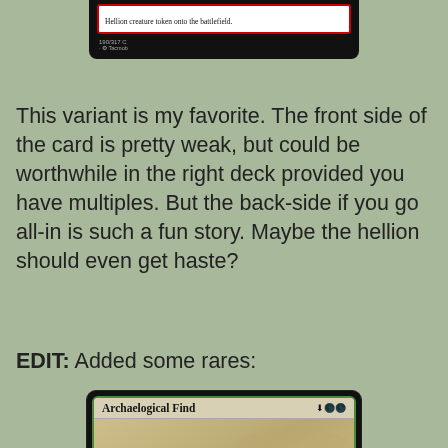[Figure (illustration): Top portion of a Magic: The Gathering card (black background) showing text in a red-bordered text box: 'Hellion creature token onto the battlefield.' with card number 190/317 C and artist credit 'Tacmob']
This variant is my favorite. The front side of the card is pretty weak, but could be worthwhile in the right deck provided you have multiples. But the back-side if you go all-in is such a fun story. Maybe the hellion should even get haste?
EDIT: Added some rares:
[Figure (illustration): Magic: The Gathering card named 'Archaelogical Find' with mana cost symbols. Sorcery card with an image of a necklace/pendant half-buried in sand. Card text reads: 'Improve — 1 (When you cast a spell with the same name as this card, you may cast this card from your graveyard']